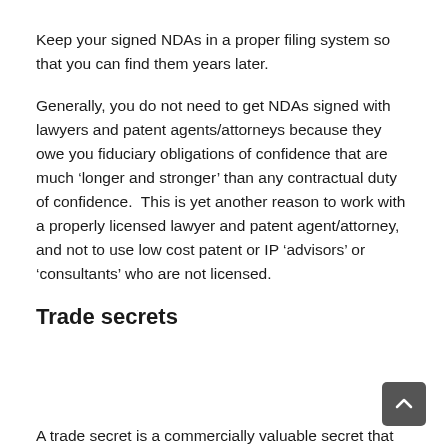Keep your signed NDAs in a proper filing system so that you can find them years later.
Generally, you do not need to get NDAs signed with lawyers and patent agents/attorneys because they owe you fiduciary obligations of confidence that are much ‘longer and stronger’ than any contractual duty of confidence.  This is yet another reason to work with a properly licensed lawyer and patent agent/attorney, and not to use low cost patent or IP ‘advisors’ or ‘consultants’ who are not licensed.
Trade secrets
A trade secret is a commercially valuable secret that